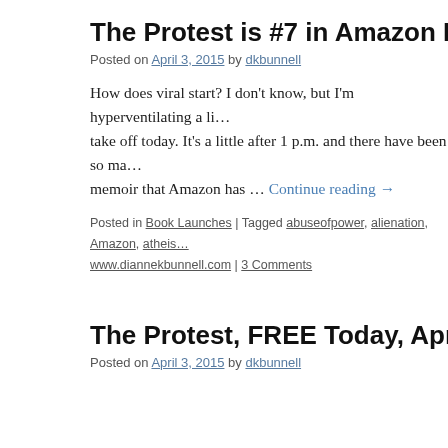The Protest is #7 in Amazon Kindle Free [Books]
Posted on April 3, 2015 by dkbunnell
How does viral start? I don't know, but I'm hyperventilating a little, as downloads take off today. It's a little after 1 p.m. and there have been so many downloads of my memoir that Amazon has … Continue reading →
Posted in Book Launches | Tagged abuseofpower, alienation, Amazon, atheis... www.diannekbunnell.com | 3 Comments
The Protest, FREE Today, April 3, on Ama[zon]
Posted on April 3, 2015 by dkbunnell
Privacy & Cookies: This site uses cookies. By continuing to use this website, you agree to their use.
To find out more, including how to control cookies, see here: Cookie Policy
Close and accept